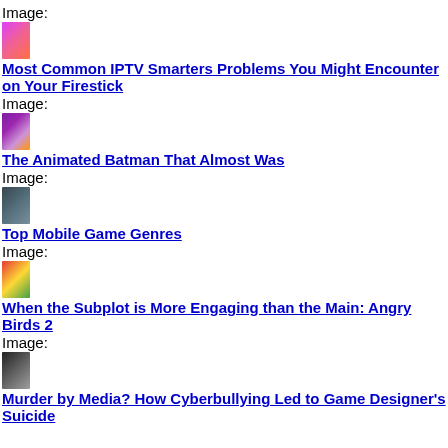Image:
[Figure (photo): Thumbnail image with pink/orange gradient and list icon]
Most Common IPTV Smarters Problems You Might Encounter on Your Firestick
Image:
[Figure (photo): Thumbnail image showing animated Batman character in purple/orange scene]
The Animated Batman That Almost Was
Image:
[Figure (photo): Thumbnail image showing Assassin's Creed game cover with dark tones]
Top Mobile Game Genres
Image:
[Figure (photo): Thumbnail image showing Angry Birds 2 movie cover]
When the Subplot is More Engaging than the Main: Angry Birds 2
Image:
[Figure (photo): Thumbnail image showing a dark close-up of a person's face]
Murder by Media? How Cyberbullying Led to Game Designer's Suicide